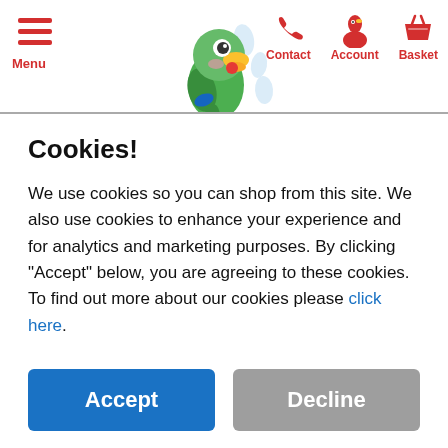[Figure (screenshot): Website header with hamburger menu icon labeled 'Menu' on left, and Contact/Account/Basket icons in red on right. A cartoon green parrot mascot is partially visible in the center of the header.]
Cookies!
We use cookies so you can shop from this site. We also use cookies to enhance your experience and for analytics and marketing purposes. By clicking "Accept" below, you are agreeing to these cookies. To find out more about our cookies please click here.
Accept
Decline